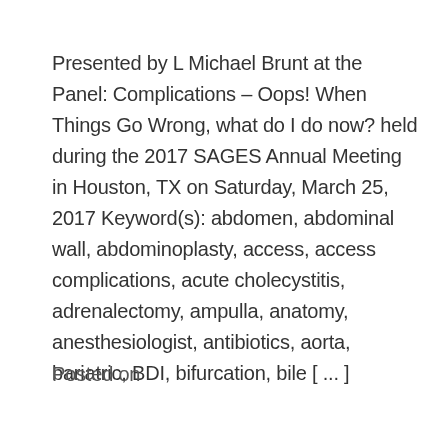Presented by L Michael Brunt at the Panel: Complications – Oops! When Things Go Wrong, what do I do now? held during the 2017 SAGES Annual Meeting in Houston, TX on Saturday, March 25, 2017 Keyword(s): abdomen, abdominal wall, abdominoplasty, access, access complications, acute cholecystitis, adrenalectomy, ampulla, anatomy, anesthesiologist, antibiotics, aorta, bariatric, BDI, bifurcation, bile [ ... ]
Posted on